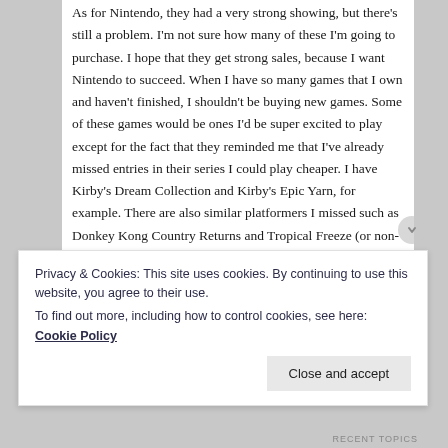As for Nintendo, they had a very strong showing, but there's still a problem. I'm not sure how many of these I'm going to purchase. I hope that they get strong sales, because I want Nintendo to succeed. When I have so many games that I own and haven't finished, I shouldn't be buying new games. Some of these games would be ones I'd be super excited to play except for the fact that they reminded me that I've already missed entries in their series I could play cheaper. I have Kirby's Dream Collection and Kirby's Epic Yarn, for example. There are also similar platformers I missed such as Donkey Kong Country Returns and Tropical Freeze (or non-Nintendo series such as Epic Mickey and its sequel).
I would have been interested in purchasing Star Fox if it
Privacy & Cookies: This site uses cookies. By continuing to use this website, you agree to their use.
To find out more, including how to control cookies, see here: Cookie Policy